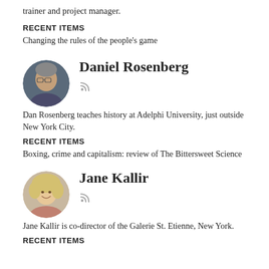trainer and project manager.
RECENT ITEMS
Changing the rules of the people’s game
Daniel Rosenberg
[Figure (photo): Circular portrait photo of Daniel Rosenberg, a middle-aged man with gray hair]
Dan Rosenberg teaches history at Adelphi University, just outside New York City.
RECENT ITEMS
Boxing, crime and capitalism: review of The Bittersweet Science
Jane Kallir
[Figure (photo): Circular portrait photo of Jane Kallir, a woman with curly blonde hair and a smile]
Jane Kallir is co-director of the Galerie St. Etienne, New York.
RECENT ITEMS